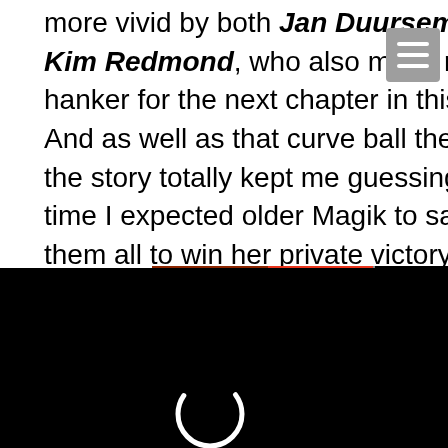more vivid by both Jan Duursema and Kim Redmond, who also make me hanker for the next chapter in this story. And as well as that curve ball the rest of the story totally kept me guessing. All the time I expected older Magik to sacrifice them all to win her private victory. I don't know why, but it seemed the more likely twist. And so I was glad that not only was I wrong and she sacrificed herself, but in doing so allowed her younger self to b... little bit less fractured. Could... see the character growth tha... coming? As such I absolutel... Don't get me wrong, I'm not i... get there, but if she does grow into this Heavy Metal inspir...
[Figure (screenshot): Hamburger menu button (three horizontal white lines on grey background) in top right corner]
[Figure (screenshot): Video loading overlay with black background and spinning circle indicator, with X close button and CLOSE label]
[Figure (screenshot): Seamless food delivery advertisement with pizza image, red seamless logo, and ORDER NOW button]
[Figure (screenshot): Bottom red banner advertisement with comic book character and speech bubble saying 'Make your move, little brat']